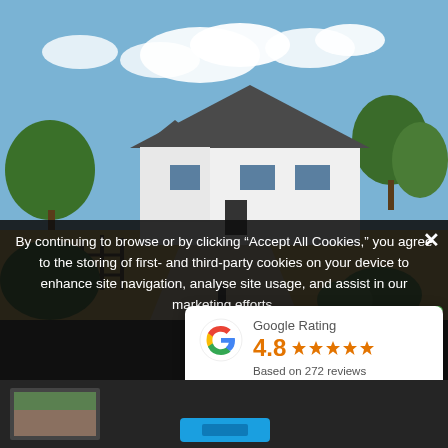[Figure (photo): Exterior photo of a modern white bungalow with grey roof, gravel driveway, wooden fence gate, and surrounding countryside with green trees and blue sky with clouds.]
By continuing to browse or by clicking “Accept All Cookies,” you agree to the storing of first- and third-party cookies on your device to enhance site navigation, analyse site usage, and assist in our marketing efforts.
› Priv…
[Figure (infographic): Google Rating widget showing the Google 'G' logo, a rating of 4.8 out of 5 stars (5 orange stars displayed), and text 'Based on 272 reviews'.]
[Figure (photo): Partial thumbnail strip at bottom showing a glimpse of a smaller property photo.]